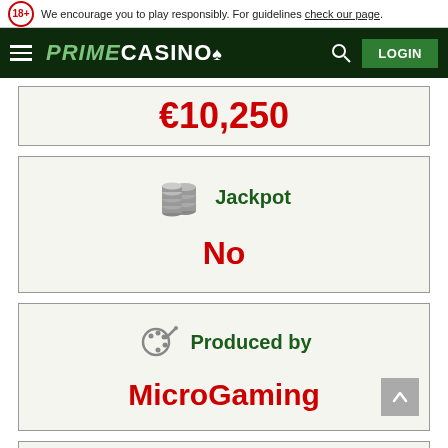We encourage you to play responsibly. For guidelines check our page.
[Figure (logo): Prime Casino logo with hamburger menu, search icon, and LOGIN button on dark green nav bar]
€10,250
[Figure (infographic): Jackpot info card with coin stack icon, label 'Jackpot', value 'No']
[Figure (infographic): Produced by card with palette icon, label 'Produced by', value 'MicroGaming']